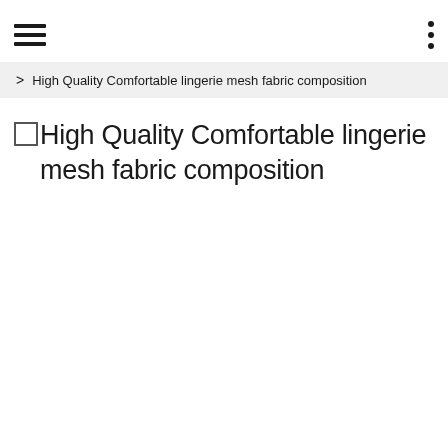☰ ⋮
> High Quality Comfortable lingerie mesh fabric composition
High Quality Comfortable lingerie mesh fabric composition